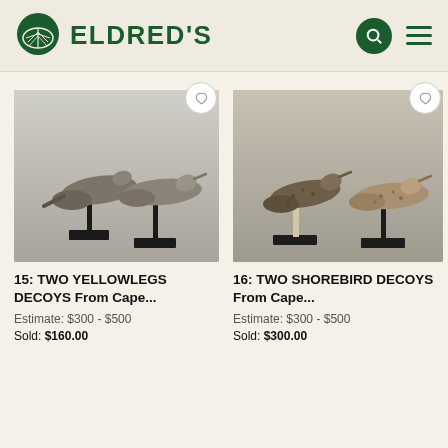ELDRED'S
[Figure (photo): Two yellowlegs bird decoys mounted on black stands against a gray background]
15: TWO YELLOWLEGS DECOYS From Cape...
Estimate: $300 - $500
Sold: $160.00
[Figure (photo): Two shorebird decoys mounted on black stands against a gray background]
16: TWO SHOREBIRD DECOYS From Cape...
Estimate: $300 - $500
Sold: $300.00